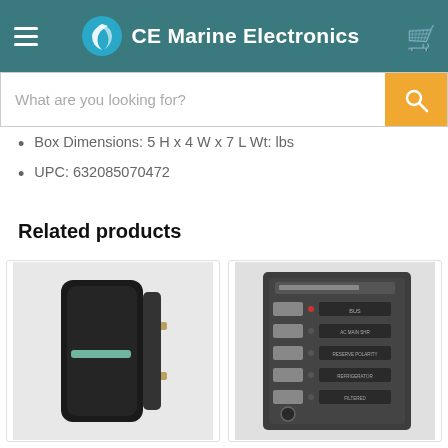CE Marine Electronics
Box Dimensions: 5 H x 4 W x 7 L Wt: lbs
UPC: 632085070472
Related products
[Figure (photo): Black rocker switch product photo]
[Figure (photo): Marine AC electrical panel with breakers]